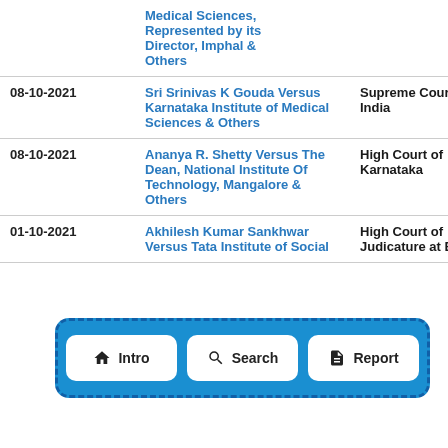| Date | Case | Court |
| --- | --- | --- |
|  | Medical Sciences, Represented by its Director, Imphal & Others |  |
| 08-10-2021 | Sri Srinivas K Gouda Versus Karnataka Institute of Medical Sciences & Others | Supreme Court of India |
| 08-10-2021 | Ananya R. Shetty Versus The Dean, National Institute Of Technology, Mangalore & Others | High Court of Karnataka |
| 01-10-2021 | Akhilesh Kumar Sankhwar Versus Tata Institute of Social | High Court of Judicature at Bombay |
| 28-... | & Others Versus Soudrik Sarangi & Others |  |
[Figure (screenshot): Navigation bar overlay with three buttons: Intro (home icon), Search (magnifying glass icon), Report (document icon), shown inside a blue dashed border box]